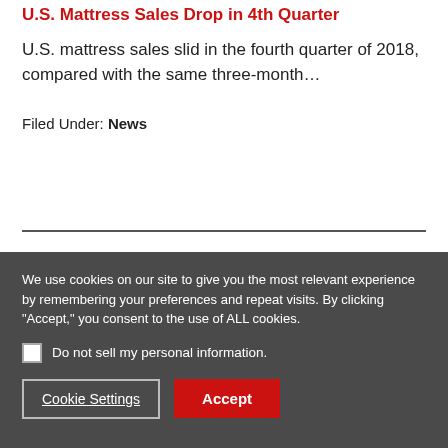U.S. Mattress Sales Drop in 4th Quarter
U.S. mattress sales slid in the fourth quarter of 2018, compared with the same three-month…
Filed Under: News
We use cookies on our site to give you the most relevant experience by remembering your preferences and repeat visits. By clicking "Accept," you consent to the use of ALL cookies.
Do not sell my personal information.
Cookie Settings
Accept